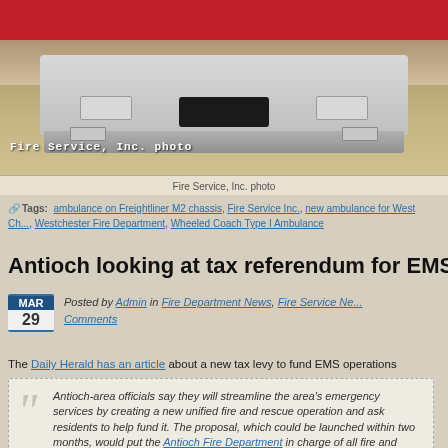[Figure (photo): Front of a fire/EMS ambulance vehicle on gravel, showing chrome bumper, grille, and headlights. Red vehicle top visible. Watermark text reads 'Fire Service, Inc. photo']
Fire Service, Inc. photo
Tags: ambulance on Freightliner M2 chassis, Fire Service Inc., new ambulance for West Ch..., Westchester Fire Department, Wheeled Coach Type I Ambulance
Antioch looking at tax referendum for EMS
Posted by Admin in Fire Department News, Fire Service Ne... Comments
The Daily Herald has an article about a new tax levy to fund EMS operations
Antioch-area officials say they will streamline the area's emergency services by creating a new unified fire and rescue operation and ask residents to help fund it. The proposal, which could be launched within two months, would put the Antioch Fire Department in charge of all fire and rescue